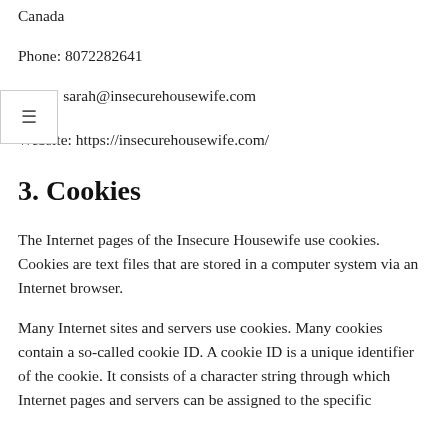Canada
Phone: 8072282641
Email: sarah@insecurehousewife.com
Website: https://insecurehousewife.com/
3. Cookies
The Internet pages of the Insecure Housewife use cookies. Cookies are text files that are stored in a computer system via an Internet browser.
Many Internet sites and servers use cookies. Many cookies contain a so-called cookie ID. A cookie ID is a unique identifier of the cookie. It consists of a character string through which Internet pages and servers can be assigned to the specific